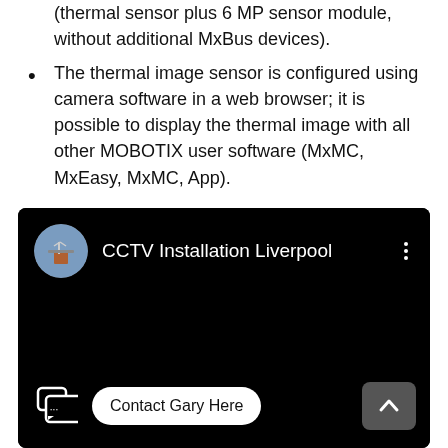(thermal sensor plus 6 MP sensor module, without additional MxBus devices).
The thermal image sensor is configured using camera software in a web browser; it is possible to display the thermal image with all other MOBOTIX user software (MxMC, MxEasy, MxMC, App).
[Figure (screenshot): YouTube-style video player screenshot on black background showing channel 'CCTV Installation Liverpool' with a profile avatar, three-dot menu, a chat icon with '...' text, a 'Contact Gary Here' button, and an up-arrow scroll button at the bottom.]